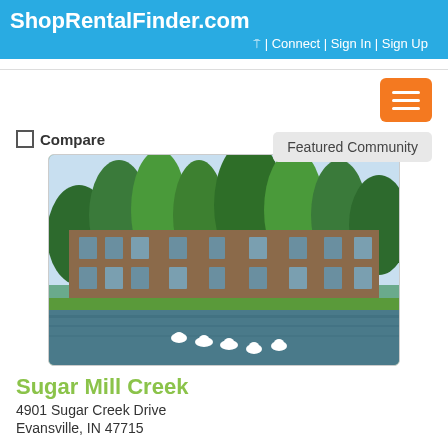ShopRentalFinder.com
| Connect | Sign In | Sign Up
Compare
Featured Community
[Figure (photo): Exterior photo of Sugar Mill Creek apartment community. A two-story brick building surrounded by tall trees and lush green grass, reflected in a calm pond/lake in the foreground. Several ducks are swimming on the water.]
Sugar Mill Creek
4901 Sugar Creek Drive
Evansville, IN 47715